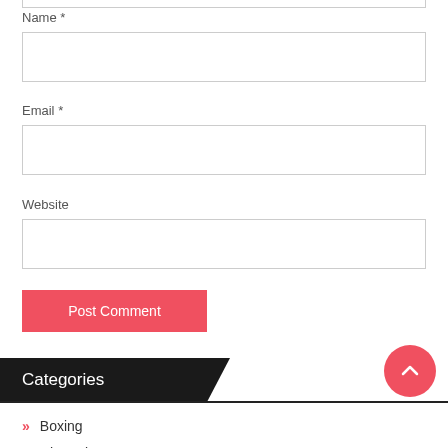Name *
Email *
Website
Post Comment
Categories
Boxing
Champion League